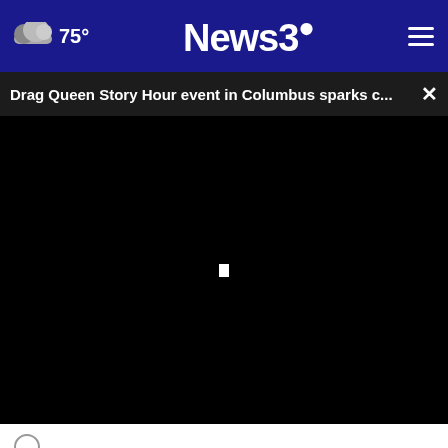75°  News3  ☰
Drag Queen Story Hour event in Columbus sparks c...  ×
[Figure (screenshot): Black video player area with a small white loading spinner in the center]
Somewhat concerned
[Figure (photo): Ad banner: group of people in black uniforms, text 'ALL DONATIONS BENEFIT LOCAL VETERANS IN GEORGIA AND PHENIX CITY.' with a red DONATE NOW button]